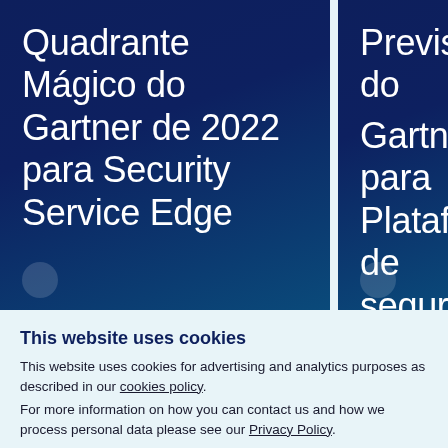Quadrante Mágico do Gartner de 2022 para Security Service Edge
Previsões do Gartner® para Plataformas de segurança consolidadas do futuro
This website uses cookies
This website uses cookies for advertising and analytics purposes as described in our cookies policy.
For more information on how you can contact us and how we process personal data please see our Privacy Policy.
Use necessary cookies only
Allow all cookies
Show details